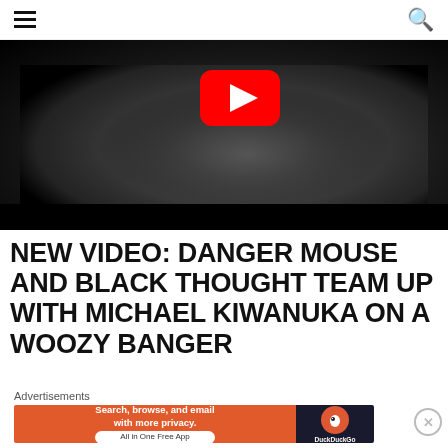Navigation bar with hamburger menu and search icon
[Figure (screenshot): Black and white close-up photo (possibly an eye or natural texture) with a YouTube play button overlay and a black bar at the bottom]
NEW VIDEO: DANGER MOUSE AND BLACK THOUGHT TEAM UP WITH MICHAEL KIWANUKA ON A WOOZY BANGER
Advertisements
[Figure (screenshot): DuckDuckGo advertisement banner: 'Search, browse, and email with more privacy. All in One Free App' on orange background with DuckDuckGo logo on dark background]